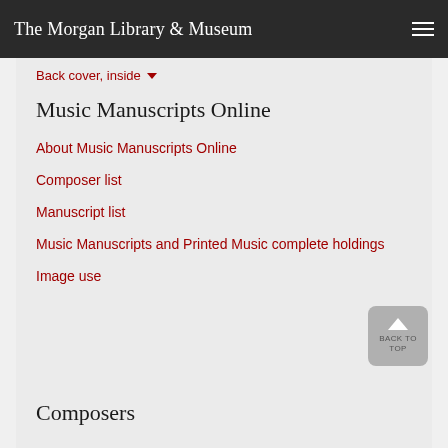The Morgan Library & Museum
Back cover, inside ▾
Music Manuscripts Online
About Music Manuscripts Online
Composer list
Manuscript list
Music Manuscripts and Printed Music complete holdings
Image use
Composers